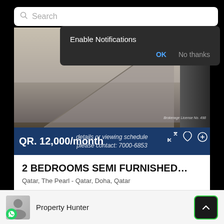[Figure (screenshot): Mobile app UI showing search bar at the top, a notification popup overlay with 'Enable Notifications' text and OK/No thanks buttons, a property interior photo showing an empty room, a price bar showing QR. 12,000/month with contact overlay text, a property listing card, and a bottom agent bar for Property Hunter.]
Search
Enable Notifications
OK
No thanks
Brokerage License No. 498
QR. 12,000/month
details or viewing schedule please contact: 7000-6853
2 BEDROOMS SEMI FURNISHED…
Qatar, The Pearl - Qatar, Doha, Qatar
2  2
Property Hunter